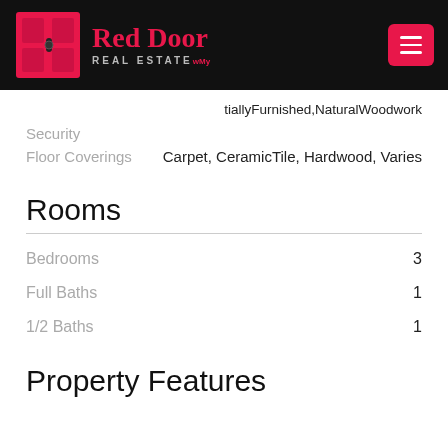Red Door Real Estate
tiallyFurnished,NaturalWoodwork
Security
Floor Coverings    Carpet, CeramicTile, Hardwood, Varies
Rooms
Bedrooms    3
Full Baths    1
1/2 Baths    1
Property Features